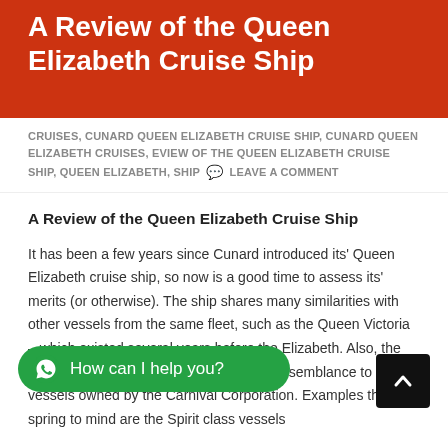A Review of the Queen Elizabeth Cruise Ship
CRUISES, CUNARD QUEEN ELIZABETH CRUISE SHIP, CUNARD QUEEN ELIZABETH CRUISES, EVIEW OF THE QUEEN ELIZABETH CRUISE SHIP, QUEEN ELIZABETH, SHIP   LEAVE A COMMENT
A Review of the Queen Elizabeth Cruise Ship
It has been a few years since Cunard introduced its' Queen Elizabeth cruise ship, so now is a good time to assess its' merits (or otherwise). The ship shares many similarities with other vessels from the same fleet, such as the Queen Victoria – which existed several years before the Elizabeth. Also, the hull design of the Elizabeth bears much resemblance to other ... rnival Corporation. Examples that spring to mind are the Spirit class vessels